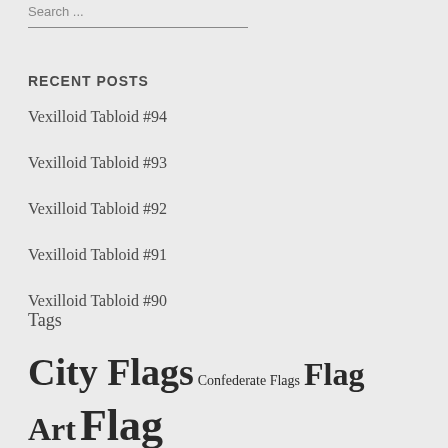Search ...
RECENT POSTS
Vexilloid Tabloid #94
Vexilloid Tabloid #93
Vexilloid Tabloid #92
Vexilloid Tabloid #91
Vexilloid Tabloid #90
Tags
City Flags Confederate Flags Flag Art Flag Design Music National Flags US Flag